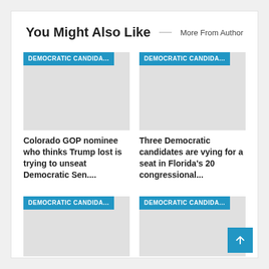You Might Also Like
More From Author
[Figure (screenshot): Card image placeholder with 'DEMOCRATIC CANDIDA...' tag, article 1]
Colorado GOP nominee who thinks Trump lost is trying to unseat Democratic Sen....
[Figure (screenshot): Card image placeholder with 'DEMOCRATIC CANDIDA...' tag, article 2]
Three Democratic candidates are vying for a seat in Florida's 20 congressional...
[Figure (screenshot): Card image placeholder with 'DEMOCRATIC CANDIDA...' tag, article 3]
[Figure (screenshot): Card image placeholder with 'DEMOCRATIC CANDIDA...' tag, article 4]